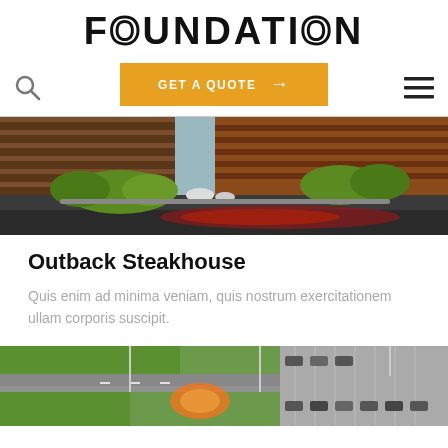FOUNDATION
GET A QUOTE →
[Figure (photo): Exterior photo of Outback Steakhouse restaurant with landscaping and parking lot]
Outback Steakhouse
Quis enim ad minima veniam, quis nostrum exercitationem ullam corporis suscipit.
[Figure (photo): Aerial view of a commercial development with parking lots and outdoor recreational area]